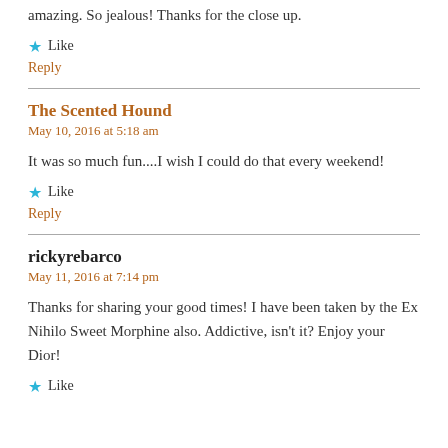amazing. So jealous! Thanks for the close up.
Like
Reply
The Scented Hound
May 10, 2016 at 5:18 am
It was so much fun....I wish I could do that every weekend!
Like
Reply
rickyrebarco
May 11, 2016 at 7:14 pm
Thanks for sharing your good times! I have been taken by the Ex Nihilo Sweet Morphine also. Addictive, isn't it? Enjoy your Dior!
Like